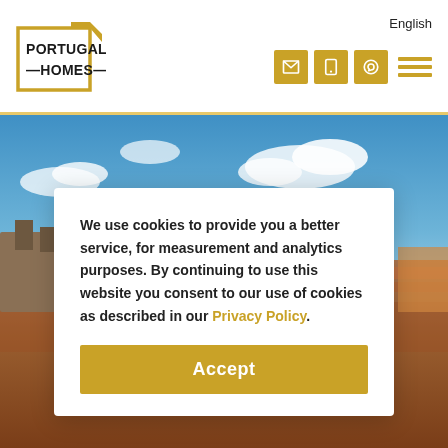English
[Figure (logo): Portugal Homes logo with gold border and corner accent]
[Figure (photo): Aerial view of Intendente neighbourhood in Lisbon with blue sky and terracotta rooftops]
Intendente
We use cookies to provide you a better service, for measurement and analytics purposes. By continuing to use this website you consent to our use of cookies as described in our Privacy Policy.
Accept